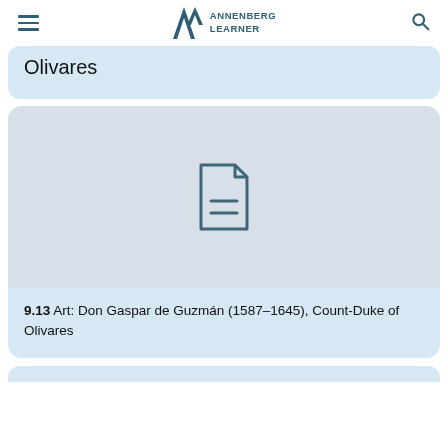ANNENBERG LEARNER
Olivares
[Figure (illustration): Document/file icon — outline of a page with folded top-right corner and two horizontal lines representing text]
9.13 Art: Don Gaspar de Guzmán (1587–1645), Count-Duke of Olivares